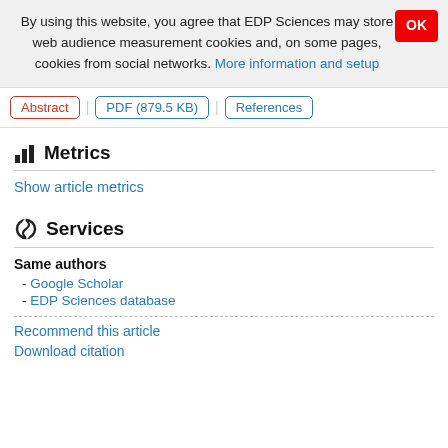By using this website, you agree that EDP Sciences may store web audience measurement cookies and, on some pages, cookies from social networks. More information and setup
Abstract | PDF (879.5 KB) | References
Metrics
Show article metrics
Services
Same authors
- Google Scholar
- EDP Sciences database
Recommend this article
Download citation